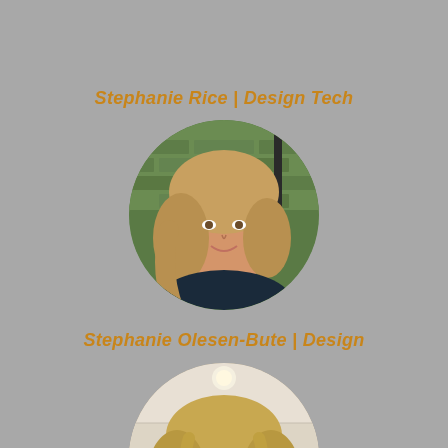Stephanie Rice | Design Tech
[Figure (photo): Circular portrait photo of Stephanie Rice, a woman with blonde wavy hair wearing a dark navy top, standing in front of green brick tiles background]
Stephanie Olesen-Bute | Design
[Figure (photo): Circular portrait photo of Stephanie Olesen-Bute, a woman with blonde layered hair, standing in front of a light kitchen background]